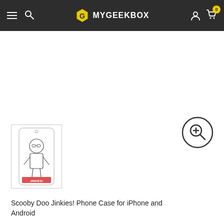MYGEEKBOX
[Figure (photo): Thumbnail of Scooby Doo Jinkies phone case showing a white phone case with a cartoon character wearing glasses and a red label at the bottom]
Scooby Doo Jinkies! Phone Case for iPhone and Android
From £14.99
Size